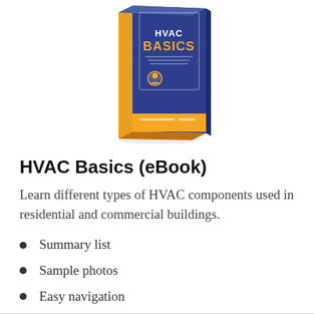[Figure (illustration): 3D book cover for 'HVAC Basics' with a dark blue cover, gold/orange title text, and an orange spine at the bottom. The book is shown at a slight angle.]
HVAC Basics (eBook)
Learn different types of HVAC components used in residential and commercial buildings.
Summary list
Sample photos
Easy navigation
VIEW PRODUCT